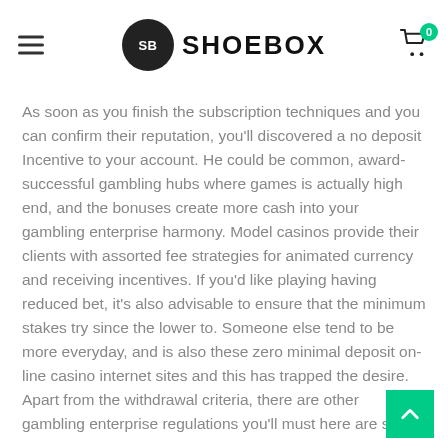SHOEBOX
As soon as you finish the subscription techniques and you can confirm their reputation, you'll discovered a no deposit Incentive to your account. He could be common, award-successful gambling hubs where games is actually high end, and the bonuses create more cash into your gambling enterprise harmony. Model casinos provide their clients with assorted fee strategies for animated currency and receiving incentives. If you'd like playing having reduced bet, it's also advisable to ensure that the minimum stakes try since the lower to. Someone else tend to be more everyday, and is also these zero minimal deposit on-line casino internet sites and this has trapped the desire. Apart from the withdrawal criteria, there are other gambling enterprise regulations you'll must here are some.